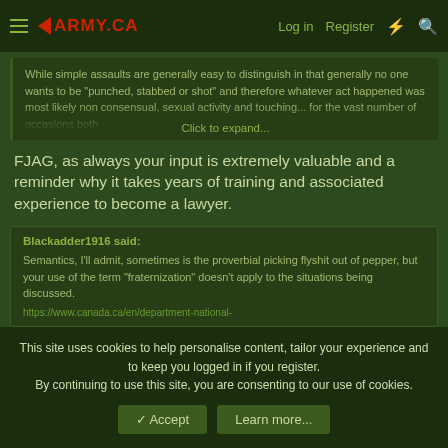ARMY.CA — Log in | Register
While simple assaults are generally easy to distinguish in that generally no one wants to be "punched, stabbed or shot" and therefore whatever act happened was most likely non consensual, sexual activity and touching... for the vast number of occasions both
Click to expand...
FJAG, as always your input is extremely valuable and a reminder why it takes years of training and associated experience to become a lawyer.
Blackadder1916 said:

Semantics, I'll admit, sometimes is the proverbial picking flyshit out of pepper, but your use of the term "fraternization" doesn't apply to the situations being discussed.

https://www.canada.ca/en/department-national-
This site uses cookies to help personalise content, tailor your experience and to keep you logged in if you register.
By continuing to use this site, you are consenting to our use of cookies.